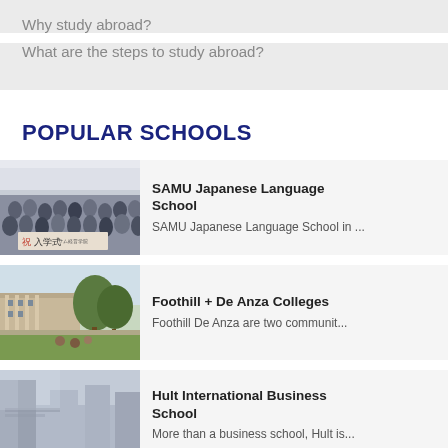Why study abroad?
What are the steps to study abroad?
POPULAR SCHOOLS
[Figure (photo): Group photo of students holding a banner with Japanese text at SAMU Japanese Language School entrance ceremony]
SAMU Japanese Language School
SAMU Japanese Language School in ...
[Figure (photo): Outdoor campus photo of Foothill or De Anza College with trees and students sitting on grass]
Foothill + De Anza Colleges
Foothill De Anza are two communit...
[Figure (photo): Architectural photo of Hult International Business School building exterior]
Hult International Business School
More than a business school, Hult is...